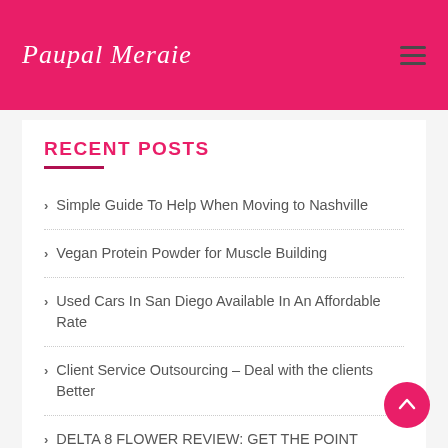Paupal Meraie
RECENT POSTS
Simple Guide To Help When Moving to Nashville
Vegan Protein Powder for Muscle Building
Used Cars In San Diego Available In An Affordable Rate
Client Service Outsourcing – Deal with the clients Better
DELTA 8 FLOWER REVIEW: GET THE POINT